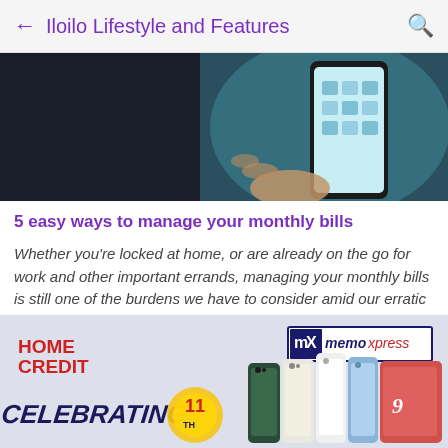← Iloilo Lifestyle and Features 🔍
[Figure (photo): Person holding a smartphone in a car, showing app icons on screen]
5 easy ways to manage your monthly bills
Whether you're locked at home, or are already on the go for work and other important errands, managing your monthly bills is still one of the burdens we have to consider amid our erratic days. It may sound simple, but sometimes, the most straightforward ...
[Figure (photo): Home Credit and memoxpress advertisement banner showing smartphones and celebrating anniversary]